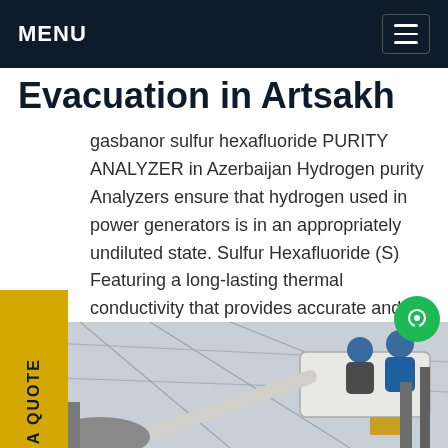MENU
Evacuation in Artsakh
gasbanor sulfur hexafluoride PURITY ANALYZER in Azerbaijan Hydrogen purity Analyzers ensure that hydrogen used in power generators is in an appropriately undiluted state. Sulfur Hexafluoride (S) Featuring a long-lasting thermal conductivity that provides accurate and stable readings, ur hexafluoride analysts are ruggedGet price
[Figure (photo): Two workers in blue hard hats operating a cherry picker / aerial lift near power line equipment and electrical infrastructure at a utility substation]